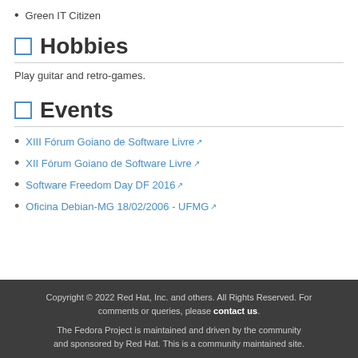Green IT Citizen
Hobbies
Play guitar and retro-games.
Events
XIII Fórum Goiano de Software Livre
XII Fórum Goiano de Software Livre
Software Freedom Day DF 2016
Oficina Debian-MG 18/02/2006 - UFMG
Copyright © 2022 Red Hat, Inc. and others. All Rights Reserved. For comments or queries, please contact us. The Fedora Project is maintained and driven by the community and sponsored by Red Hat. This is a community maintained site.